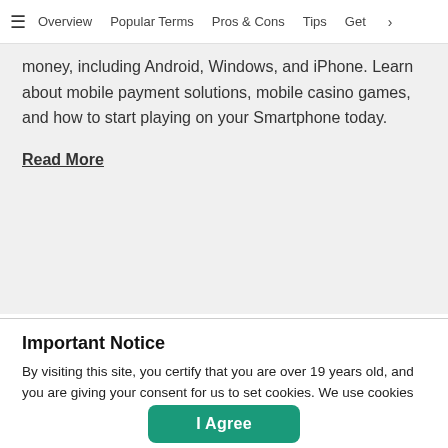≡  Overview  Popular Terms  Pros & Cons  Tips  Get  >
money, including Android, Windows, and iPhone. Learn about mobile payment solutions, mobile casino games, and how to start playing on your Smartphone today.
Read More
Important Notice
By visiting this site, you certify that you are over 19 years old, and you are giving your consent for us to set cookies. We use cookies to enhance your browsing experience, serve personalized ads or content, and analyze our traffic. Read More
I Agree